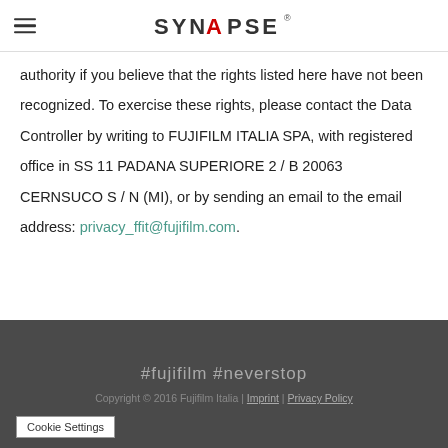SYNAPSE
authority if you believe that the rights listed here have not been recognized. To exercise these rights, please contact the Data Controller by writing to FUJIFILM ITALIA SPA, with registered office in SS 11 PADANA SUPERIORE 2 / B 20063 CERNSUCO S / N (MI), or by sending an email to the email address: privacy_ffit@fujifilm.com.
#fujifilm #neverstop
Copyright © 2016 Fujifilm Italia | Imprint | Privacy Policy
Cookie Settings